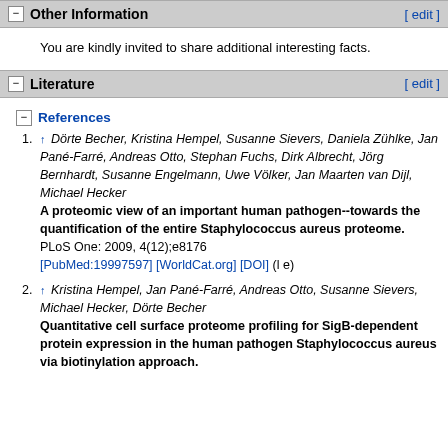Other Information [ edit ]
You are kindly invited to share additional interesting facts.
Literature [ edit ]
References
1. ↑ Dörte Becher, Kristina Hempel, Susanne Sievers, Daniela Zühlke, Jan Pané-Farré, Andreas Otto, Stephan Fuchs, Dirk Albrecht, Jörg Bernhardt, Susanne Engelmann, Uwe Völker, Jan Maarten van Dijl, Michael Hecker A proteomic view of an important human pathogen--towards the quantification of the entire Staphylococcus aureus proteome. PLoS One: 2009, 4(12);e8176 [PubMed:19997597] [WorldCat.org] [DOI] (l e)
2. ↑ Kristina Hempel, Jan Pané-Farré, Andreas Otto, Susanne Sievers, Michael Hecker, Dörte Becher Quantitative cell surface proteome profiling for SigB-dependent protein expression in the human pathogen Staphylococcus aureus via biotinylation approach.